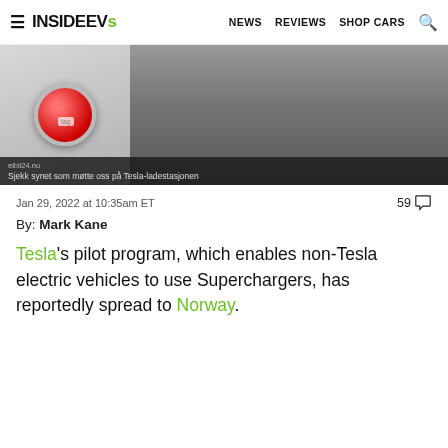≡ InsideEVs | NEWS  REVIEWS  SHOP CARS  🔍
[Figure (photo): Partial photo of a Tesla charging port (red cap) and wheel, with caption overlay: elbil24.no — Sjekk synet som møtte oss på Tesla-ladestasjonen]
elbil24.no
Sjekk synet som møtte oss på Tesla-ladestasjonen
Jan 29, 2022 at 10:35am ET
59 💬
By: Mark Kane
Tesla's pilot program, which enables non-Tesla electric vehicles to use Superchargers, has reportedly spread to Norway.